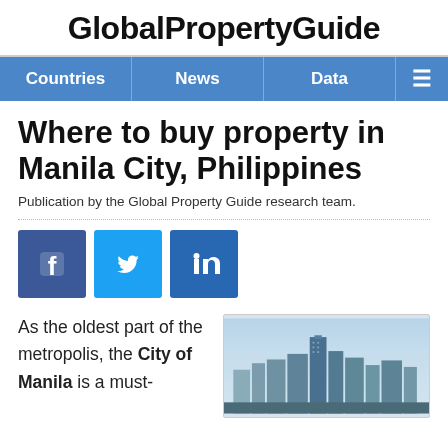GlobalPropertyGuide
Countries | News | Data
Where to buy property in Manila City, Philippines
Publication by the Global Property Guide research team.
[Figure (other): Social media share buttons: Facebook, Twitter, LinkedIn]
As the oldest part of the metropolis, the City of Manila is a must-
[Figure (photo): Aerial photograph of Manila city skyline with tall buildings]